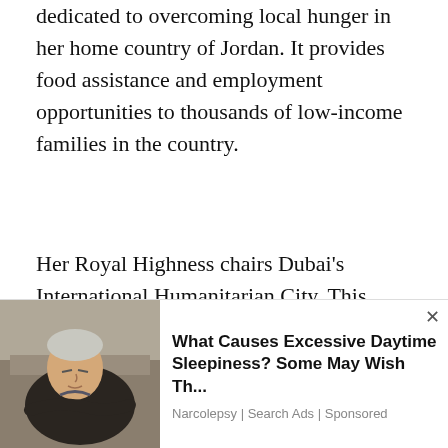dedicated to overcoming local hunger in her home country of Jordan. It provides food assistance and employment opportunities to thousands of low-income families in the country.
Her Royal Highness chairs Dubai's International Humanitarian City. This body delivers aid with ten UN agencies and nearly 40 NGOs as members. In the past, Princess Haya was a founding member of former UN Secretary-General Kofi Annan's Global Humanitarian Forum based in Geneva, Switzerland.
She uses social media to highlight causes close to
[Figure (photo): Advertisement photo showing an elderly man sleeping in a chair]
What Causes Excessive Daytime Sleepiness? Some May Wish Th... Narcolepsy | Search Ads | Sponsored